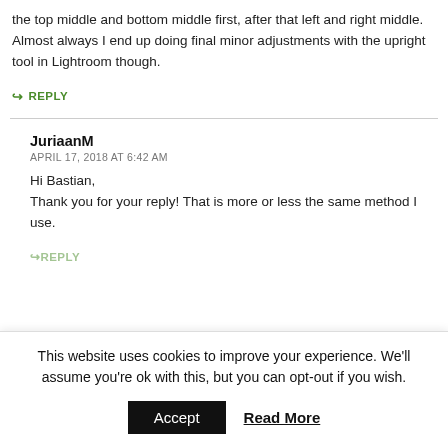the top middle and bottom middle first, after that left and right middle.
Almost always I end up doing final minor adjustments with the upright tool in Lightroom though.
REPLY
JuriaanM
APRIL 17, 2018 AT 6:42 AM
Hi Bastian,
Thank you for your reply! That is more or less the same method I use.
REPLY
This website uses cookies to improve your experience. We'll assume you're ok with this, but you can opt-out if you wish.
Accept
Read More